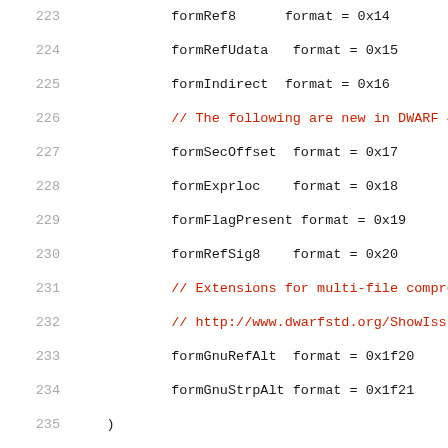223   formRef8      format = 0x14
224   formRefUdata   format = 0x15
225   formIndirect  format = 0x16
226   // The following are new in DWARF 4.
227   formSecOffset  format = 0x17
228   formExprloc    format = 0x18
229   formFlagPresent format = 0x19
230   formRefSig8    format = 0x20
231   // Extensions for multi-file compression
232   // http://www.dwarfstd.org/ShowIssue.php
233   formGnuRefAlt  format = 0x1f20
234   formGnuStrpAlt format = 0x1f21
235   )
236   
237   // A Tag is the classification (the type) of an
238   type Tag uint32
239   
240   const (
241       TagArrayType              Tag = 0x01
242       TagClassType              Tag = 0x02
243       TagEntryPoint             Tag = 0x03
244       TagEnumerationType        Tag = 0x04